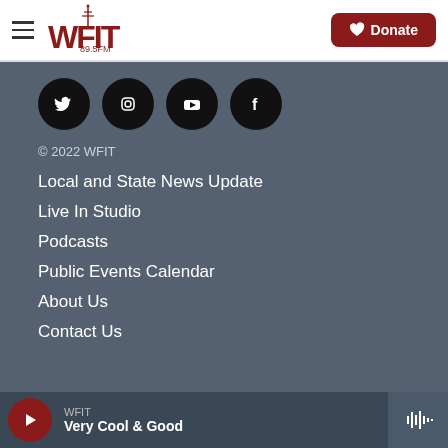[Figure (logo): WFIT 89.5FM logo in dark red with radio tower]
Donate
[Figure (infographic): Social media icons: Twitter, Instagram, YouTube, Facebook — black circles with white icons]
© 2022 WFIT
Local and State News Update
Live In Studio
Podcasts
Public Events Calendar
About Us
Contact Us
WFIT — Very Cool & Good